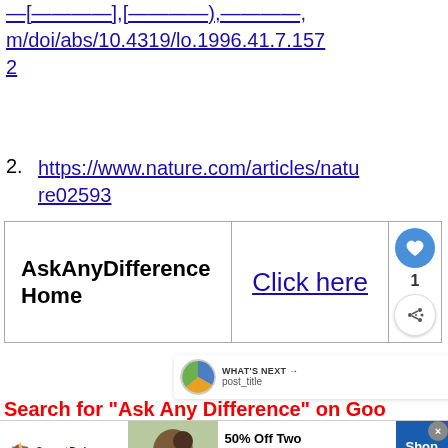https://aslopubs.onlinelibrary.wiley.com/doi/abs/10.4319/lo.1996.41.7.1572
2. https://www.nature.com/articles/nature02593
| AskAnyDifference Home | Click here |  |
[Figure (infographic): What's Next widget showing a circular thumbnail with pie chart and text 'WHAT'S NEXT → post_title']
Search for "Ask Any Difference" on Goo...
[Figure (infographic): SmartPak advertisement banner: 50% Off Two Months of ColiCare, ColiCare Eligible Supplements, CODE: COLICARE10, Shop Now button]